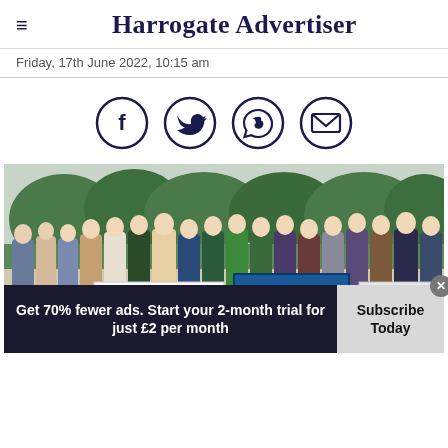Harrogate Advertiser
Friday, 17th June 2022, 10:15 am
[Figure (infographic): Row of four circular social media share icons: Facebook, Twitter, WhatsApp (phone), Email — dark navy outlined circles on white background]
[Figure (photo): Group photo of approximately 20 people standing outdoors in front of green hedges and trees. Some hold signs including 'BROWNIE'S BEER & BOOT PARTY' and a large cheque. A partial sign reads 'WINKSLEY GYM...' in the bottom right.]
Get 70% fewer ads. Start your 2-month trial for just £2 per month
Subscribe Today